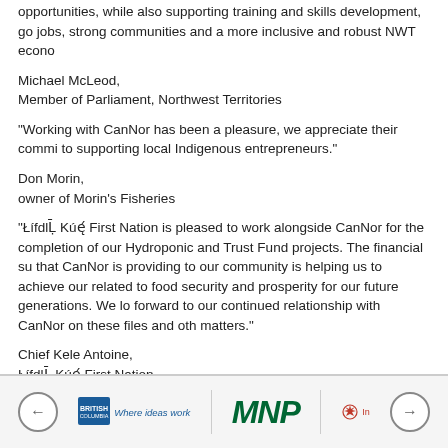opportunities, while also supporting training and skills development, go jobs, strong communities and a more inclusive and robust NWT econo
Michael McLeod,
Member of Parliament, Northwest Territories
“Working with CanNor has been a pleasure, we appreciate their commi to supporting local Indigenous entrepreneurs.”
Don Morin,
owner of Morin’s Fisheries
“ŁífdlỨ Kűę First Nation is pleased to work alongside CanNor for the completion of our Hydroponic and Trust Fund projects. The financial su that CanNor is providing to our community is helping us to achieve our related to food security and prosperity for our future generations. We lo forward to our continued relationship with CanNor on these files and oth matters.”
Chief Kele Antoine,
ŁífdlỨ Kűę First Nation
BC | Where ideas work   MNP   Innovation Canada